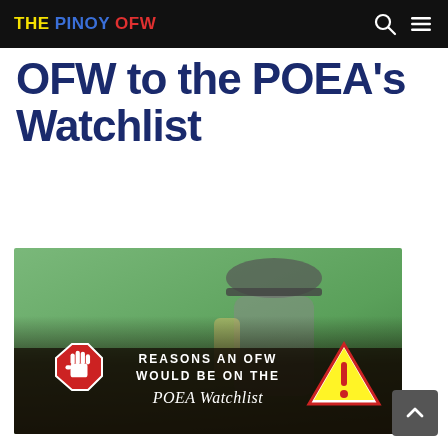THE PINOY OFW
OFW to the POEA's Watchlist
[Figure (photo): A person wearing a plaid hat and carrying a backpack, with a dark overlay banner reading 'REASONS AN OFW WOULD BE ON THE POEA Watchlist', with a stop sign icon on the left and a warning triangle icon on the right.]